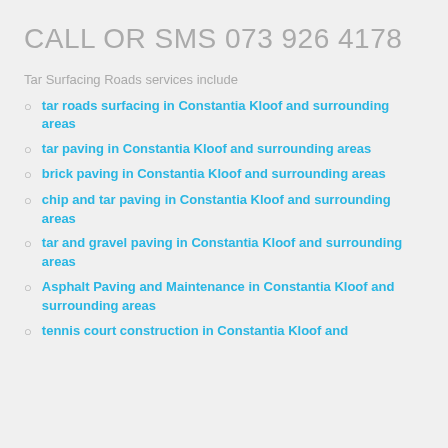CALL OR SMS 073 926 4178
Tar Surfacing Roads services include
tar roads surfacing in Constantia Kloof and surrounding areas
tar paving in Constantia Kloof and surrounding areas
brick paving in Constantia Kloof and surrounding areas
chip and tar paving in Constantia Kloof and surrounding areas
tar and gravel paving in Constantia Kloof and surrounding areas
Asphalt Paving and Maintenance in Constantia Kloof and surrounding areas
tennis court construction in Constantia Kloof and